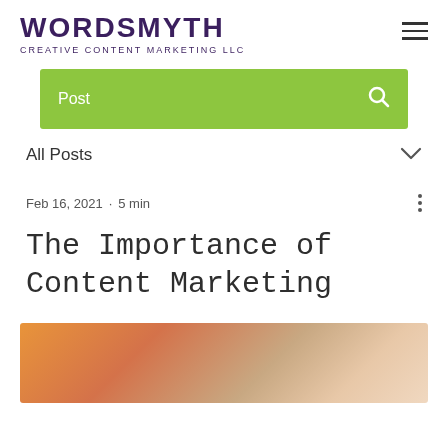WORDSMYTH CREATIVE CONTENT MARKETING LLC
Post
All Posts
Feb 16, 2021 · 5 min
The Importance of Content Marketing
[Figure (photo): Blurred warm-toned hero image at the bottom of the page, showing an orange/warm colored object out of focus]